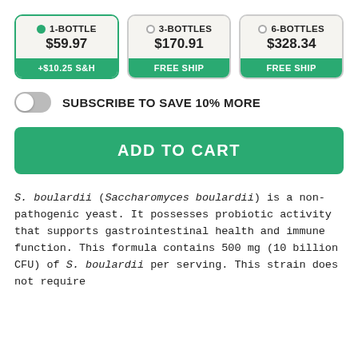[Figure (other): Product purchase options: 3 bottle quantity cards (1-BOTTLE $59.97 +$10.25 S&H selected, 3-BOTTLES $170.91 FREE SHIP, 6-BOTTLES $328.34 FREE SHIP)]
SUBSCRIBE TO SAVE 10% MORE
ADD TO CART
S. boulardii (Saccharomyces boulardii) is a non-pathogenic yeast. It possesses probiotic activity that supports gastrointestinal health and immune function. This formula contains 500 mg (10 billion CFU) of S. boulardii per serving. This strain does not require